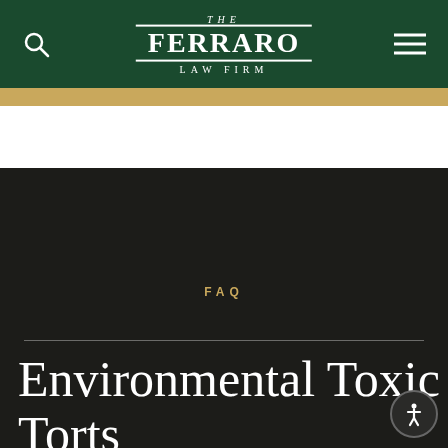THE FERRARO LAW FIRM
FAQ
Environmental Toxic Torts